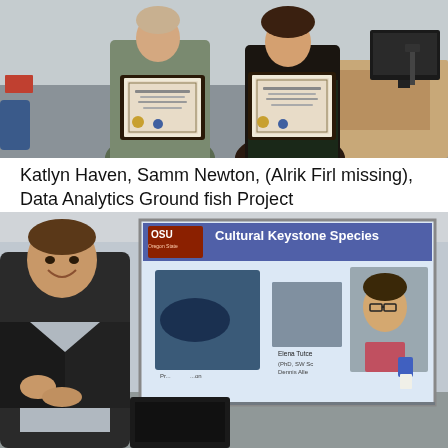[Figure (photo): Two people standing and holding framed award certificates in a room with a podium and monitor in the background.]
Katlyn Haven, Samm Newton, (Alrik Firl missing), Data Analytics Ground fish Project
[Figure (photo): A man clapping on the left while another man in a plaid shirt stands at the front near a projection screen showing an OSU Cultural Keystone Species presentation slide.]